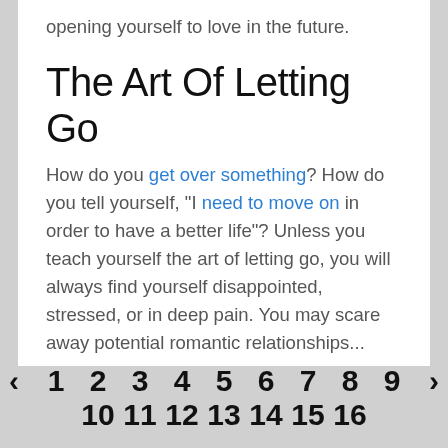opening yourself to love in the future.
The Art Of Letting Go
How do you get over something? How do you tell yourself, "I need to move on in order to have a better life"? Unless you teach yourself the art of letting go, you will always find yourself disappointed, stressed, or in deep pain. You may scare away potential romantic relationships...
Continue Reading...
‹ 1 2 3 4 5 6 7 8 9 › 10 11 12 13 14 15 16